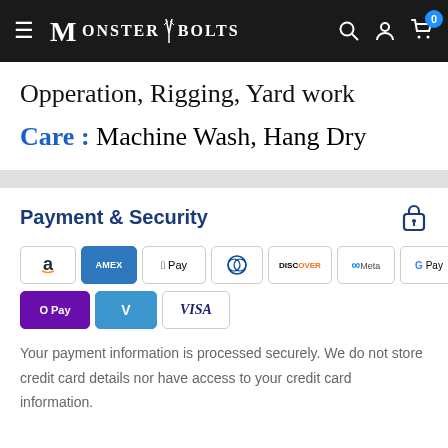MonsterBolts
Opperation, Rigging, Yard work
Care : Machine Wash, Hang Dry
Payment & Security
[Figure (logo): Payment method logos: Amazon Pay, Amex, Apple Pay, Diners, Discover, Meta Pay, Google Pay, Mastercard, PayPal, O Pay, Venmo, Visa]
Your payment information is processed securely. We do not store credit card details nor have access to your credit card information.